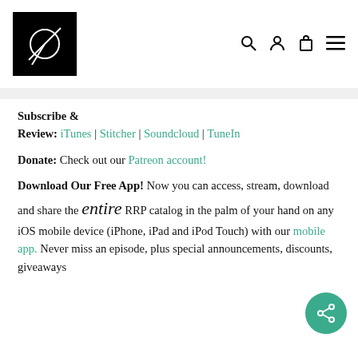RRP logo and navigation icons (search, account, bag, menu)
Subscribe &
Review: iTunes | Stitcher | Soundcloud | TuneIn
Donate: Check out our Patreon account!
Download Our Free App! Now you can access, stream, download and share the entire RRP catalog in the palm of your hand on any iOS mobile device (iPhone, iPad and iPod Touch) with our mobile app. Never miss an episode, plus special announcements, discounts, giveaways